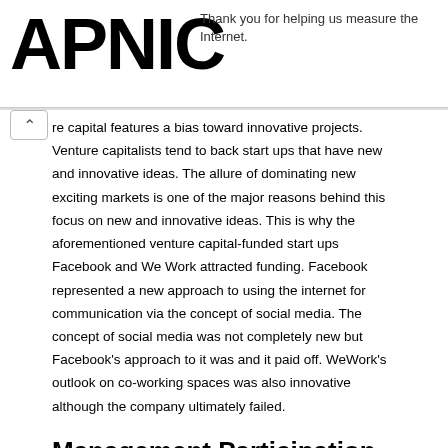APNIC
Thank you for helping us measure the Internet.
re capital features a bias toward innovative projects. Venture capitalists tend to back start ups that have new and innovative ideas. The allure of dominating new exciting markets is one of the major reasons behind this focus on new and innovative ideas. This is why the aforementioned venture capital-funded start ups Facebook and We Work attracted funding. Facebook represented a new approach to using the internet for communication via the concept of social media. The concept of social media was not completely new but Facebook's approach to it was and it paid off. WeWork's outlook on co-working spaces was also innovative although the company ultimately failed.
Management Participation
As a condition of investment venture capital features venture capitalists participating in company management or receiving the